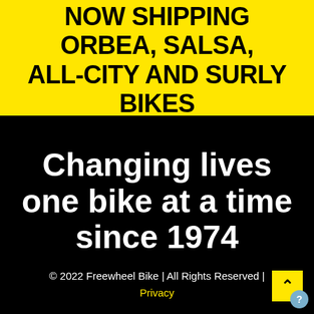NOW SHIPPING ORBEA, SALSA, ALL-CITY AND SURLY BIKES
Changing lives one bike at a time since 1974
© 2022 Freewheel Bike | All Rights Reserved | Privacy